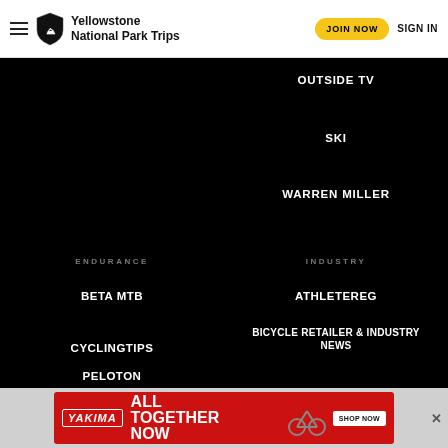Yellowstone National Park Trips | JOIN NOW | SIGN IN
OUTSIDE TV
SKI
WARREN MILLER
ENDURANCE
INDUSTRY
BETA MTB
ATHLETEREG
CYCLINGTIPS
BICYCLE RETAILER & INDUSTRY NEWS
FASTEST KNOWN TIME
FINISHERPIX
PELOTON
[Figure (infographic): Yakima advertisement banner reading ALL TOGETHER NOW with SHOP NOW button and bicycle image on red background]